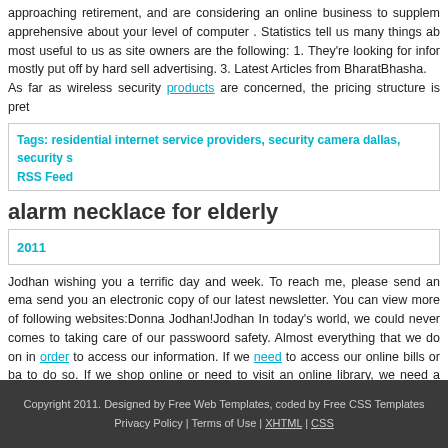approaching retirement, and are considering an online business to supplement apprehensive about your level of computer . Statistics tell us many things ab most useful to us as site owners are the following: 1. They're looking for infor mostly put off by hard sell advertising. 3. Latest Articles from BharatBhasha. As far as wireless security products are concerned, the pricing structure is pre
Tags: residential internet service providers, security camera dallas, security s
RSS Feed
alarm necklace for elderly
2011
Jodhan wishing you a terrific day and week. To reach me, please send an ema send you an electronic copy of our latest newsletter. You can view more of following websites:Donna Jodhan!Jodhan In today's world, we could never comes to taking care of our passwoord safety. Almost everything that we do on in order to access our information. If we need to access our online bills or ba to do so. If we shop online or need to visit an online library, we need a passw
RSS Feed   Tags: alarm companies near me, security companies dallas, alarm
Copyright 2011. Designed by Free Web Templates, coded by Free CSS Templates Privacy Policy | Terms of Use | XHTML | CSS